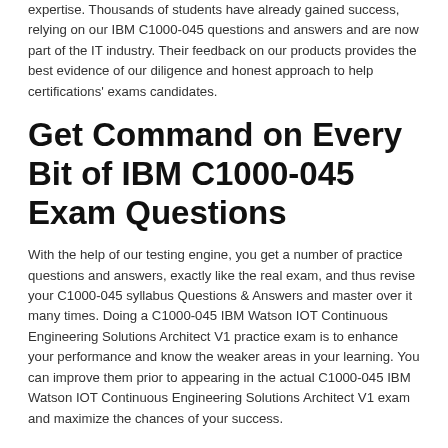expertise. Thousands of students have already gained success, relying on our IBM C1000-045 questions and answers and are now part of the IT industry. Their feedback on our products provides the best evidence of our diligence and honest approach to help certifications' exams candidates.
Get Command on Every Bit of IBM C1000-045 Exam Questions
With the help of our testing engine, you get a number of practice questions and answers, exactly like the real exam, and thus revise your C1000-045 syllabus Questions & Answers and master over it many times. Doing a C1000-045 IBM Watson IOT Continuous Engineering Solutions Architect V1 practice exam is to enhance your performance and know the weaker areas in your learning. You can improve them prior to appearing in the actual C1000-045 IBM Watson IOT Continuous Engineering Solutions Architect V1 exam and maximize the chances of your success.